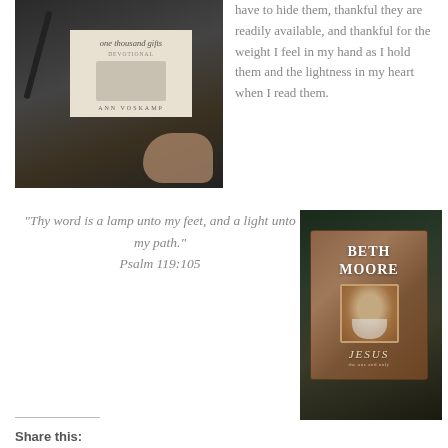[Figure (photo): Photo of a hand holding the 'One Thousand Gifts Devotional' book by Ann Voskamp, with a pen visible, dark background]
have to hide them, thankful they are readily available, and thankful for the weight I feel in my hand as I hold them and the lightness in my heart when I read them.
"Thy word is a lamp unto my feet, and a light unto my path." Psalm 119:105
[Figure (photo): Photo of a Beth Moore book titled 'Jesus' on a dark fabric background]
Share this: